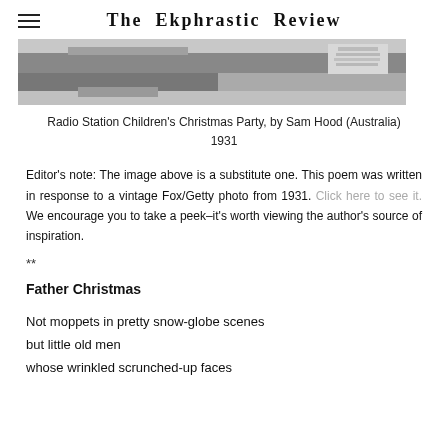The Ekphrastic Review
[Figure (photo): Black and white photograph cropped at top, showing a partial view of a room with ceiling and walls visible, Radio Station Children's Christmas Party setting.]
Radio Station Children's Christmas Party, by Sam Hood (Australia)
1931
Editor's note: The image above is a substitute one. This poem was written in response to a vintage Fox/Getty photo from 1931. Click here to see it. We encourage you to take a peek–it's worth viewing the author's source of inspiration.
**
Father Christmas
Not moppets in pretty snow-globe scenes
but little old men
whose wrinkled scrunched-up faces